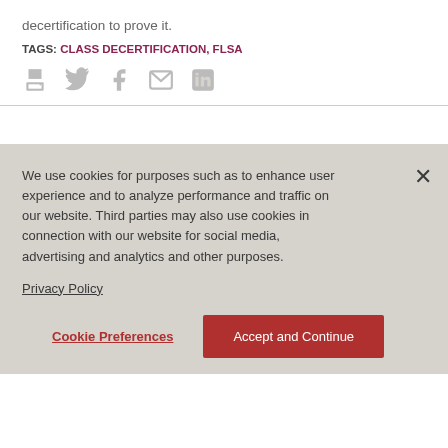decertification to prove it.
TAGS: CLASS DECERTIFICATION, FLSA
[Figure (other): Social sharing icons: print, Twitter, Facebook, email, LinkedIn]
We use cookies for purposes such as to enhance user experience and to analyze performance and traffic on our website. Third parties may also use cookies in connection with our website for social media, advertising and analytics and other purposes.
Privacy Policy
Cookie Preferences
Accept and Continue